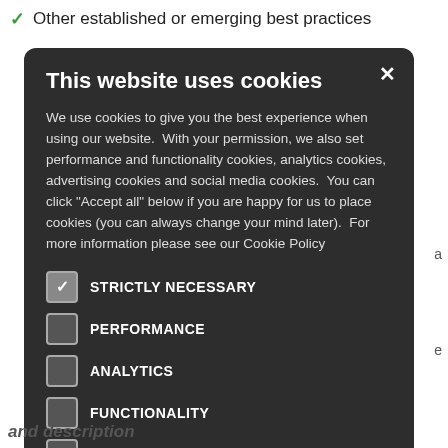Other established or emerging best practices
[Figure (screenshot): Cookie consent modal dialog on a dark background. Contains title 'This website uses cookies', explanatory text about cookie usage, checkboxes for STRICTLY NECESSARY (checked), PERFORMANCE, ANALYTICS, FUNCTIONALITY, SOCIAL MEDIA, and two buttons: ACCEPT ALL (green) and DECLINE ALL.]